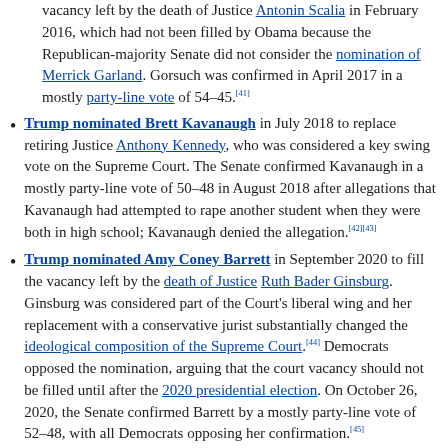vacancy left by the death of Justice Antonin Scalia in February 2016, which had not been filled by Obama because the Republican-majority Senate did not consider the nomination of Merrick Garland. Gorsuch was confirmed in April 2017 in a mostly party-line vote of 54–45.[41]
Trump nominated Brett Kavanaugh in July 2018 to replace retiring Justice Anthony Kennedy, who was considered a key swing vote on the Supreme Court. The Senate confirmed Kavanaugh in a mostly party-line vote of 50–48 in August 2018 after allegations that Kavanaugh had attempted to rape another student when they were both in high school; Kavanaugh denied the allegation.[42][43]
Trump nominated Amy Coney Barrett in September 2020 to fill the vacancy left by the death of Justice Ruth Bader Ginsburg. Ginsburg was considered part of the Court's liberal wing and her replacement with a conservative jurist substantially changed the ideological composition of the Supreme Court.[44] Democrats opposed the nomination, arguing that the court vacancy should not be filled until after the 2020 presidential election. On October 26, 2020, the Senate confirmed Barrett by a mostly party-line vote of 52–48, with all Democrats opposing her confirmation.[45]
Leadership style